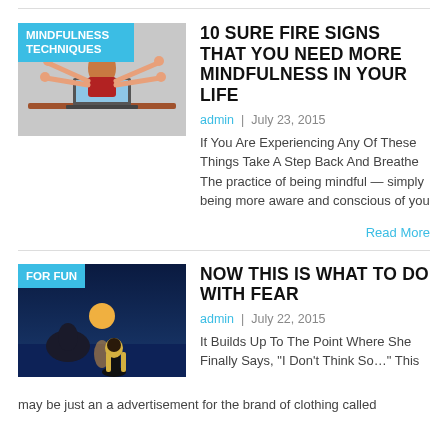[Figure (photo): Article thumbnail: woman meditating at desk with laptop and multiple arms, with 'MINDFULNESS TECHNIQUES' badge overlay]
10 SURE FIRE SIGNS THAT YOU NEED MORE MINDFULNESS IN YOUR LIFE
admin | July 23, 2015
If You Are Experiencing Any Of These Things Take A Step Back And Breathe The practice of being mindful — simply being more aware and conscious of you
Read More
[Figure (photo): Article thumbnail: woman with blonde hair standing on rocks by the sea at night with rising moon, with 'FOR FUN' badge overlay]
NOW THIS IS WHAT TO DO WITH FEAR
admin | July 22, 2015
It Builds Up To The Point Where She Finally Says, "I Don't Think So..." This may be just an a advertisement for the brand of clothing called